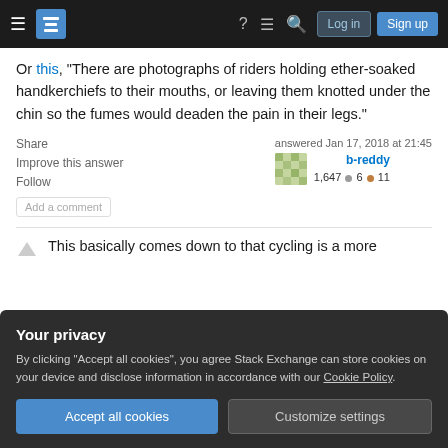Stack Exchange navigation bar with hamburger menu, logo, help, review, search, Log in, Sign up
Or this, "There are photographs of riders holding ether-soaked handkerchiefs to their mouths, or leaving them knotted under the chin so the fumes would deaden the pain in their legs."
Share  Improve this answer  Follow
answered Jan 17, 2018 at 21:45
b-reddy
1,647 ● 6 ● 11
Add a comment
This basically comes down to that cycling is a more
Your privacy
By clicking "Accept all cookies", you agree Stack Exchange can store cookies on your device and disclose information in accordance with our Cookie Policy.
Accept all cookies   Customize settings
consumes three fuels